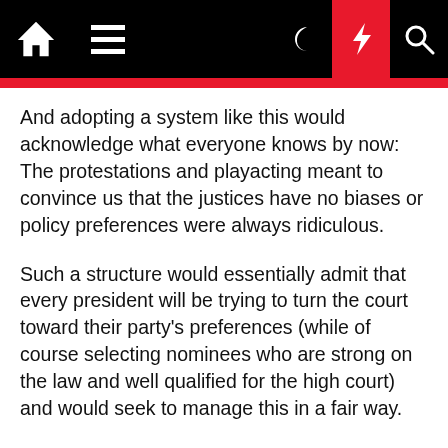[Navigation bar with home, menu, moon, lightning, and search icons]
And adopting a system like this would acknowledge what everyone knows by now: The protestations and playacting meant to convince us that the justices have no biases or policy preferences were always ridiculous.
Such a structure would essentially admit that every president will be trying to turn the court toward their party's preferences (while of course selecting nominees who are strong on the law and well qualified for the high court) and would seek to manage this in a fair way.
Now that the public may be realizing that the court will to some degree be a zone of political contestation, perhaps we can have a real debate about what a better system might look like.